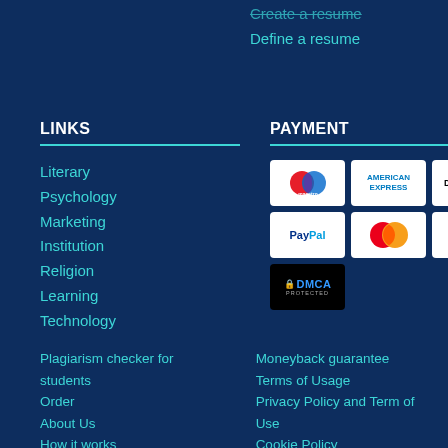Create a resume
Define a resume
LINKS
Literary
Psychology
Marketing
Institution
Religion
Learning
Technology
PAYMENT
[Figure (other): Payment method logos: Maestro, American Express, Discover, PayPal, Mastercard, Visa, DMCA Protected badge]
Plagiarism checker for students
Moneyback guarantee
Order
Terms of Usage
About Us
Privacy Policy and Term of Use
How it works
Cookie Policy